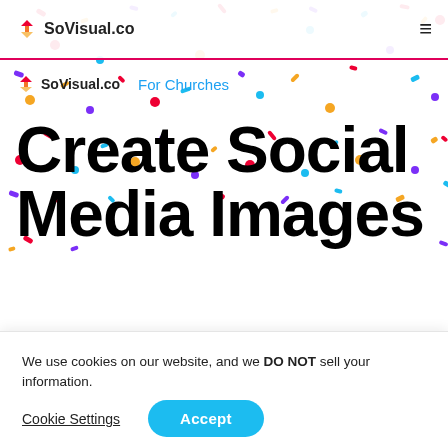SoVisual.co
SoVisual.co  For Churches
Create Social Media Images
We use cookies on our website, and we DO NOT sell your information.
Cookie Settings  Accept